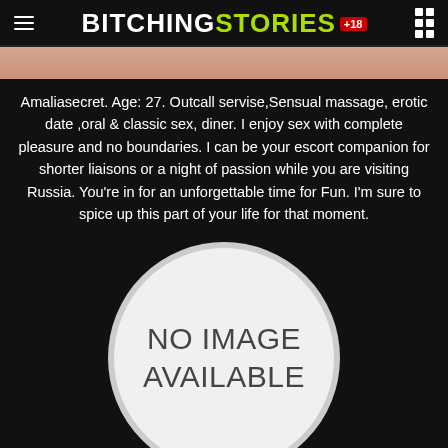BITCHINGSTORIES +18
[Figure (photo): Partial image cropped at top showing skin/face]
Amaliasecret. Age: 27. Outcall servise,Sensual massage, erotic date ,oral & classic sex, diner. I enjoy sex with complete pleasure and no boundaries. I can be your escort companion for shorter liaisons or a night of passion while you are visiting Russia. You're in for an unforgettable time for Fun. I'm sure to spice up this part of your life for that moment.
[Figure (illustration): Circle placeholder with text NO IMAGE AVAILABLE]